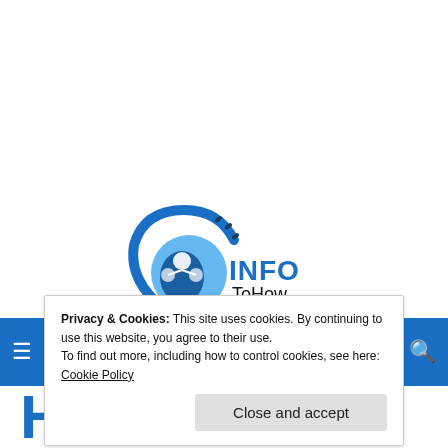[Figure (logo): InfoToHow logo: blue circular globe/hand graphic with 'INFO' in bold blue and 'ToHow' in black text]
Privacy & Cookies: This site uses cookies. By continuing to use this website, you agree to their use.
To find out more, including how to control cookies, see here:
Cookie Policy
Close and accept
How To Find